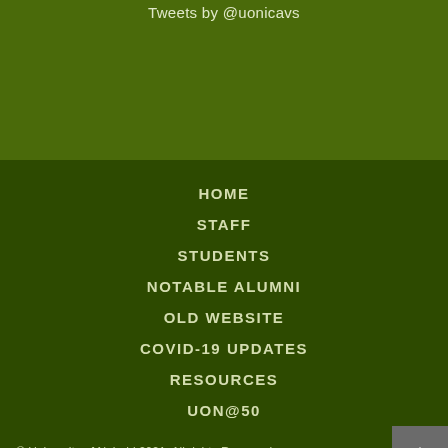Tweets by @uonicavs
HOME
STAFF
STUDENTS
NOTABLE ALUMNI
OLD WEBSITE
COVID-19 UPDATES
RESOURCES
UON@50
© University of Nairobi 2021.  All rights Reserved.